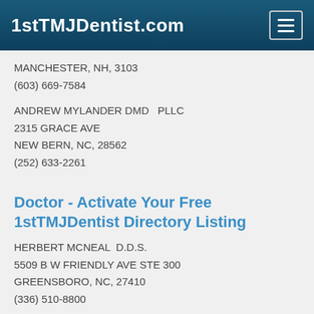1stTMJDentist.com
MANCHESTER, NH, 3103
(603) 669-7584
ANDREW MYLANDER DMD   PLLC
2315 GRACE AVE
NEW BERN, NC, 28562
(252) 633-2261
Doctor - Activate Your Free 1stTMJDentist Directory Listing
HERBERT MCNEAL  D.D.S.
5509 B W FRIENDLY AVE STE 300
GREENSBORO, NC, 27410
(336) 510-8800
HAMPSTEAD FAMILY DENTAL PC
2 RICKER RD
HAMPSTEAD, NH, 3841
(603) 329-4869